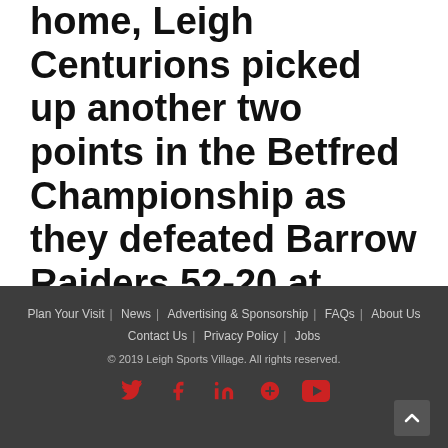home, Leigh Centurions picked up another two points in the Betfred Championship as they defeated Barrow Raiders 52-20 at Leigh Sports Village. [...]
Plan Your Visit | News | Advertising & Sponsorship | FAQs | About Us | Contact Us | Privacy Policy | Jobs | © 2019 Leigh Sports Village. All rights reserved.